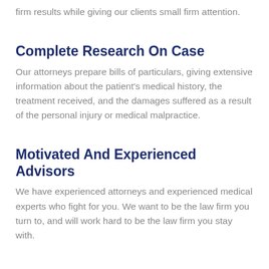firm results while giving our clients small firm attention.
Complete Research On Case
Our attorneys prepare bills of particulars, giving extensive information about the patient's medical history, the treatment received, and the damages suffered as a result of the personal injury or medical malpractice.
Motivated And Experienced Advisors
We have experienced attorneys and experienced medical experts who fight for you. We want to be the law firm you turn to, and will work hard to be the law firm you stay with.